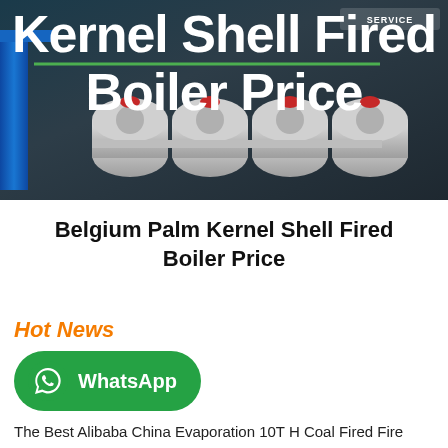[Figure (photo): Hero banner image showing industrial palm kernel shell fired boilers in a dark industrial setting with blue structure on the left. Large white bold text overlay reads 'Kernel Shell Fired Boiler Price']
Belgium Palm Kernel Shell Fired Boiler Price
Hot News
[Figure (logo): WhatsApp green button with WhatsApp logo icon and text 'WhatsApp']
The Best Alibaba China Evaporation 10T H Coal Fired Fire Tube Boiler